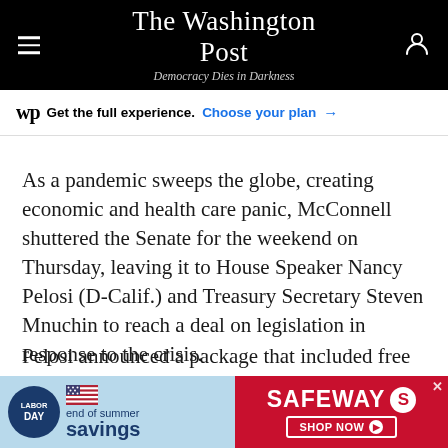The Washington Post — Democracy Dies in Darkness
Get the full experience. Choose your plan →
As a pandemic sweeps the globe, creating economic and health care panic, McConnell shuttered the Senate for the weekend on Thursday, leaving it to House Speaker Nancy Pelosi (D-Calif.) and Treasury Secretary Steven Mnuchin to reach a deal on legislation in response to the crisis.
Pelosi announced a package that included free testing, paid emergency leave for a limited time,
[Figure (other): Safeway Labor Day end of summer savings advertisement banner]